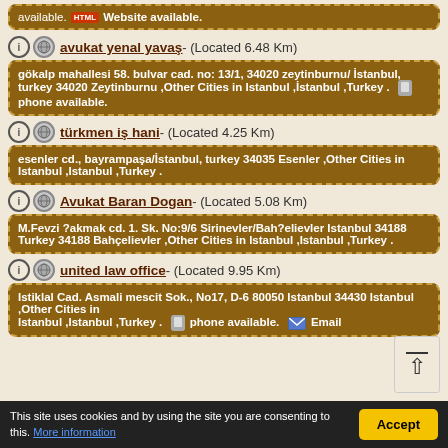available. [HTML] Website available.
avukat yenal yavaş - (Located 6.48 Km)
gökalp mahallesi 58. bulvar cad. no: 13/1, 34020 zeytinburnu/ İstanbul, turkey 34020 Zeytinburnu ,Other Cities in Istanbul ,Istanbul ,Turkey . [phone icon] phone available.
türkmen iş hani - (Located 4.25 Km)
esenler cd., bayrampaşa/İstanbul, turkey 34035 Esenler ,Other Cities in Istanbul ,Istanbul ,Turkey .
Avukat Baran Dogan - (Located 5.08 Km)
M.Fevzi ?akmak cd. 1. Sk. No:9/6 Sirinevler/Bah?elievler Istanbul 34188 Turkey 34188 Bahçelievler ,Other Cities in Istanbul ,Istanbul ,Turkey .
united law office - (Located 9.95 Km)
Istiklal Cad. Asmali mescit Sok., No17, D-6 80050 Istanbul 34430 Istanbul ,Other Cities in Istanbul ,Istanbul ,Turkey . [phone icon] phone available. [email icon] Email
This site uses cookies and by using the site you are consenting to this. More information  Accept